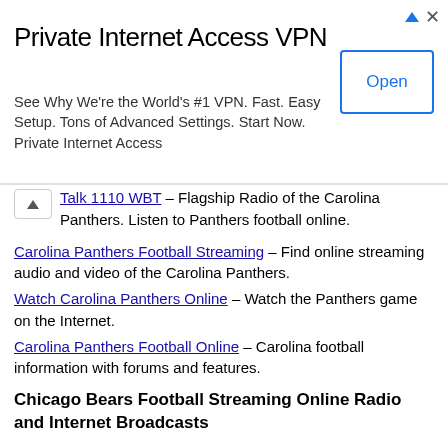[Figure (screenshot): Advertisement banner for Private Internet Access VPN with title, description, and Open button]
Talk 1110 WBT – Flagship Radio of the Carolina Panthers. Listen to Panthers football online.
Carolina Panthers Football Streaming – Find online streaming audio and video of the Carolina Panthers.
Watch Carolina Panthers Online – Watch the Panthers game on the Internet.
Carolina Panthers Football Online – Carolina football information with forums and features.
Chicago Bears Football Streaming Online Radio and Internet Broadcasts
FOX Chicago – Online home of the Chicago Bears.
Bears Football Streaming – Listen live to Bears online audio and watch Bears football games live online.
Watch Chicago Bears Online – Find the Bears game on the